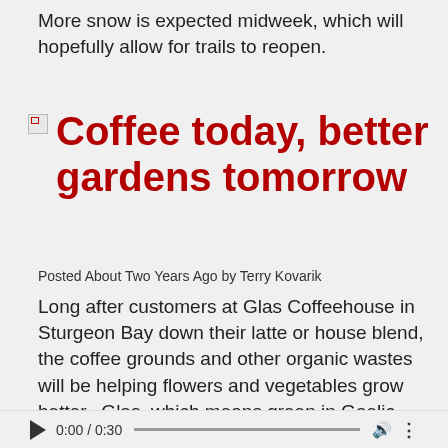More snow is expected midweek, which will hopefully allow for trails to reopen.
Coffee today, better gardens tomorrow
Posted About Two Years Ago by Terry Kovarik
Long after customers at Glas Coffeehouse in Sturgeon Bay down their latte or house blend, the coffee grounds and other organic wastes will be helping flowers and vegetables grow better.  Glas, which means green in Gaelic, composts all coffee, tea and other organic leftovers behind its shop on East Maple Street.  General Manager Ryan Shaw says the 55-gallon trash can used for composting fills up and empties on a regular basis.
[Figure (other): Audio player bar with play button, time 0:00 / 0:30, progress bar, volume icon, and menu icon]